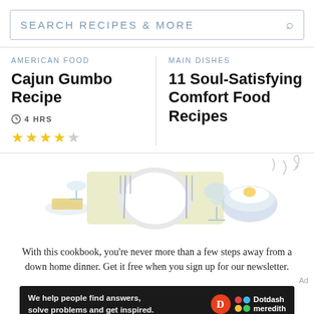SEARCH RECIPES & MORE
AMERICAN FOOD
Cajun Gumbo Recipe
4 HRS
MAIN DISHES
11 Soul-Satisfying Comfort Food Recipes
[Figure (illustration): Illustration of a dinner table setting with a plate, fork, knife, butter on a dish, a wine glass, and a bowl of rice with egg, with steam rising]
With this cookbook, you’re never more than a few steps away from a down home dinner. Get it free when you sign up for our newsletter.
Ad
We help people find answers, solve problems and get inspired. Dotdash meredith